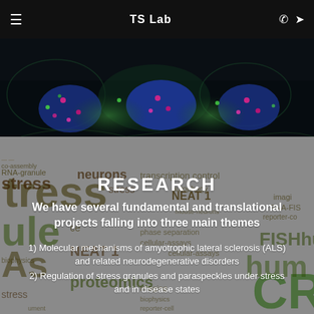TS Lab
[Figure (photo): Fluorescence microscopy image showing cells with blue nuclei and green/magenta fluorescent spots on dark background]
[Figure (infographic): Word cloud with scientific terms including stress, RNA-granule, neurons, NEAT1, proteomics, imaging, FISH, CRISPR, cellular-assays, reporter, and others in various sizes and dark olive/green colors on grey background]
RESEARCH
We have several fundamental and translational projects falling into three main themes
1) Molecular mechanisms of amyotrophic lateral sclerosis (ALS) and related neurodegenerative disorders
2) Regulation of stress granules and paraspeckles under stress and in disease states